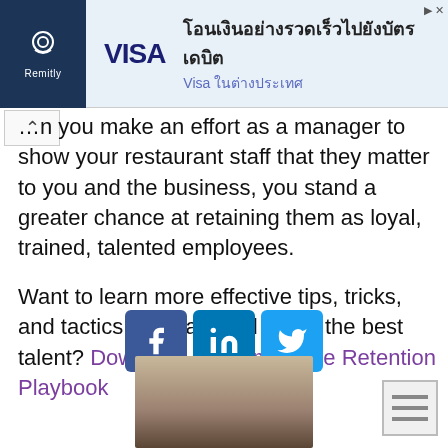[Figure (other): Advertisement banner with Remitly and Visa logos. Thai text: โอนเงินอย่างรวดเร็วไปยังบัตรเดบิต / Visa ในต่างประเทศ]
…n you make an effort as a manager to show your restaurant staff that they matter to you and the business, you stand a greater chance at retaining them as loyal, trained, talented employees.

Want to learn more effective tips, tricks, and tactics to attract and retain the best talent? Download The Employee Retention Playbook
[Figure (other): Social share buttons: Facebook (f), LinkedIn (in), Twitter bird icon]
[Figure (photo): Portrait photo of a woman with long blonde hair]